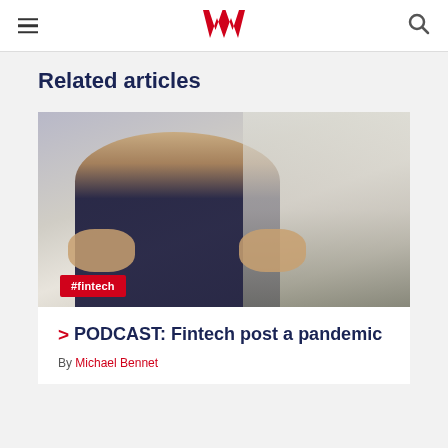Westpac navigation header with hamburger menu, Westpac W logo, and search icon
Related articles
[Figure (photo): Photo of a man in a dark blazer with curly hair giving two thumbs up in an office environment. A red tag '#fintech' overlays the bottom-left of the image.]
PODCAST: Fintech post a pandemic
By Michael Bennet